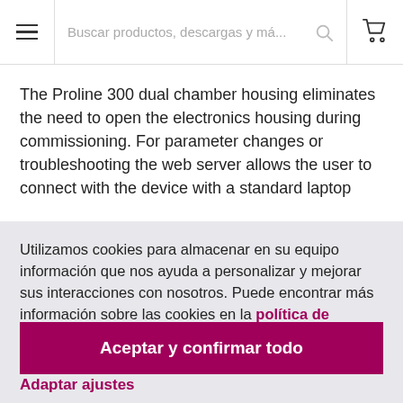Buscar productos, descargas y má...
The Proline 300 dual chamber housing eliminates the need to open the electronics housing during commissioning. For parameter changes or troubleshooting the web server allows the user to connect with the device with a standard laptop
Utilizamos cookies para almacenar en su equipo información que nos ayuda a personalizar y mejorar sus interacciones con nosotros. Puede encontrar más información sobre las cookies en la política de privacidad.
Aceptar y confirmar todo
Adaptar ajustes